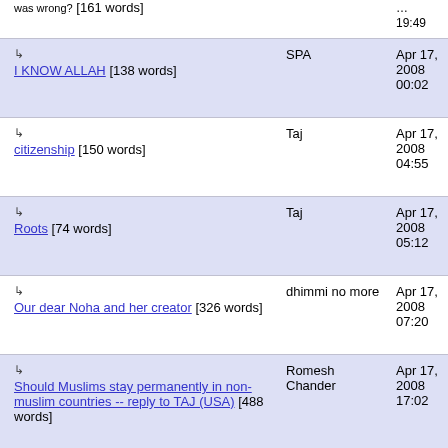| Title | Author | Date |
| --- | --- | --- |
| ↳ I KNOW ALLAH [138 words] | SPA | Apr 17, 2008 00:02 |
| ↳ citizenship [150 words] | Taj | Apr 17, 2008 04:55 |
| ↳ Roots [74 words] | Taj | Apr 17, 2008 05:12 |
| ↳ Our dear Noha and her creator [326 words] | dhimmi no more | Apr 17, 2008 07:20 |
| ↳ Should Muslims stay permanently in non-muslim countries -- reply to TAJ (USA) [488 words] | Romesh Chander | Apr 17, 2008 17:02 |
| ↳ I know Allah too [212 words] | Noha Yousri | Apr 17, 2008 18:10 |
| ↳ Taj: There was not a single Muslim country when the exiles went to Ethiopia [275 words] | Plato | Apr 17, 2008 21:46 |